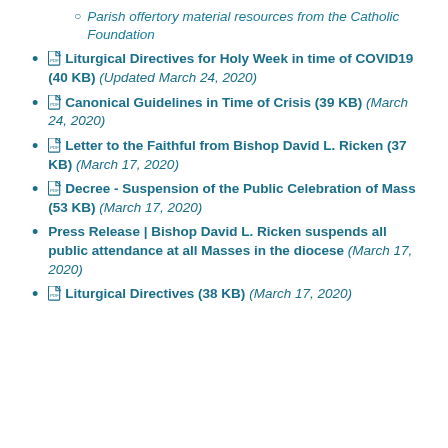Parish offertory material resources from the Catholic Foundation
Liturgical Directives for Holy Week in time of COVID19 (40 KB) (Updated March 24, 2020)
Canonical Guidelines in Time of Crisis (39 KB) (March 24, 2020)
Letter to the Faithful from Bishop David L. Ricken (37 KB) (March 17, 2020)
Decree - Suspension of the Public Celebration of Mass (53 KB) (March 17, 2020)
Press Release | Bishop David L. Ricken suspends all public attendance at all Masses in the diocese (March 17, 2020)
Liturgical Directives (38 KB) (March 17, 2020)